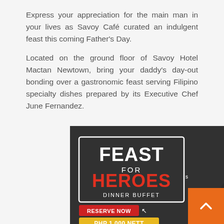Express your appreciation for the main man in your lives as Savoy Café curated an indulgent feast this coming Father's Day.
Located on the ground floor of Savoy Hotel Mactan Newtown, bring your daddy's day-out bonding over a gastronomic feast serving Filipino specialty dishes prepared by its Executive Chef June Fernandez.
[Figure (photo): Promotional advertisement image for 'Feast for Heroes' Dinner Buffet at Savoy Cafe. Shows Filipino dishes including a bowl of braised/adobo pork and a spicy dish. Text reads: FEAST FOR HEROES, DINNER BUFFET, RESERVE NOW, PHP 1,000 NETT. Savoy Cafe logo visible top right.]